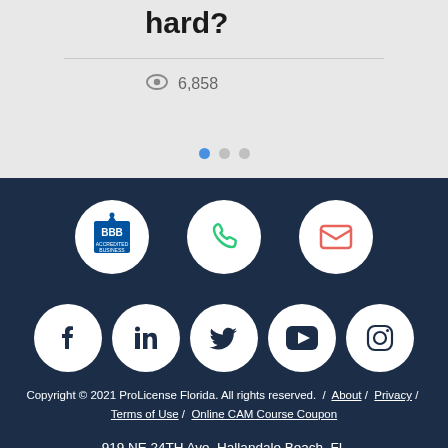hard?
6,858
[Figure (screenshot): Three pagination dots: one filled blue (active), two light grey (inactive)]
[Figure (logo): BBB Accredited Business logo in a white circle, phone icon in green in a white circle, mail envelope icon in red/pink in a white circle]
[Figure (logo): Social media icons in white circles: Facebook, LinkedIn, Twitter, YouTube, Instagram]
Copyright © 2021 ProLicense Florida. All rights reserved.  /  About  /  Privacy  /  Terms of Use  /  Online CAM Course Coupon
919 NE 24TH Ave, Hallandale Beach, FL 33009